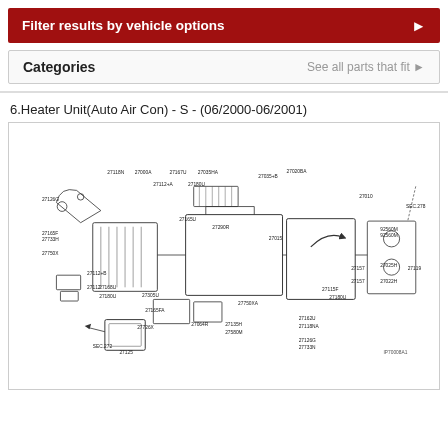Filter results by vehicle options
Categories    See all parts that fit
6.Heater Unit(Auto Air Con) - S - (06/2000-06/2001)
[Figure (engineering-diagram): Exploded view diagram of Heater Unit (Auto Air Con) - S - showing labeled parts including 27126G, 27118N, 27000A, 27167U, 27035HA, 27020BA, 27010, SEC.278, 92560M, 27165F, 27733H, 27112+A, 27180U, 27157, 27025H, 27119, 27750X, 27165U, 27022H, 27112+B, 27290R, 27015, 27115F, 27180U, 27168U, 27180U, 27305U, 27165FA, 27750XA, 27064R, 27135H, 27162U, 27726X, 27580M, 27118NA, SEC.272, 27125, 27126G, 27733N, reference number IP70008A1]